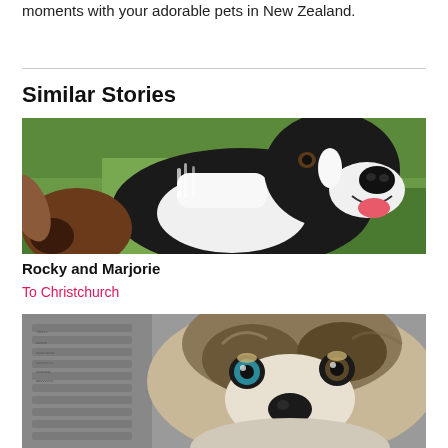moments with your adorable pets in New Zealand.
Similar Stories
[Figure (photo): A black and white Border Collie dog sitting on green grass, mouth open, looking at camera]
Rocky and Marjorie
To Christchurch
[Figure (photo): Close-up of a fluffy Australian Shepherd puppy with blue eyes, lying next to a knitted fabric]